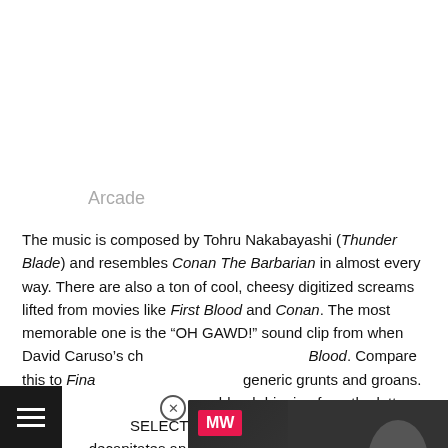Arcade
The music is composed by Tohru Nakabayashi (Thunder Blade) and resembles Conan The Barbarian in almost every way. There are also a ton of cool, cheesy digitized screams lifted from movies like First Blood and Conan. The most memorable one is the “OH GAWD!” sound clip from when David Caruso’s ch[aracter gets shot in First] Blood. Compare this to Fina[l Fight which only has] generic grunts and groans. T[here is also an animation of] blood dripping from the lette[rs in the “PLAYER] SELECT” menu, and a brief c[lip where a character] decapitates an enemy and sends his head flying [towa]rds the screen, which were both removed from [overse]as releases.
[Figure (screenshot): Video advertisement overlay for 'Tactics Ogre: Reborn Release Date' from ManyWorlds (MW) website, with pink/magenta branding and dark background with game imagery. An X close button appears at top right of ad.]